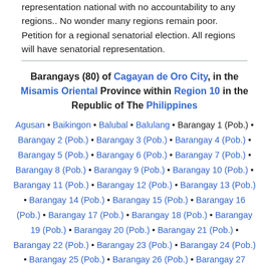representation national with no accountability to any regions.. No wonder many regions remain poor. Petition for a regional senatorial election. All regions will have senatorial representation.
Barangays (80) of Cagayan de Oro City, in the Misamis Oriental Province within Region 10 in the Republic of The Philippines
Agusan • Baikingon • Balubal • Balulang • Barangay 1 (Pob.) • Barangay 2 (Pob.) • Barangay 3 (Pob.) • Barangay 4 (Pob.) • Barangay 5 (Pob.) • Barangay 6 (Pob.) • Barangay 7 (Pob.) • Barangay 8 (Pob.) • Barangay 9 (Pob.) • Barangay 10 (Pob.) • Barangay 11 (Pob.) • Barangay 12 (Pob.) • Barangay 13 (Pob.) • Barangay 14 (Pob.) • Barangay 15 (Pob.) • Barangay 16 (Pob.) • Barangay 17 (Pob.) • Barangay 18 (Pob.) • Barangay 19 (Pob.) • Barangay 20 (Pob.) • Barangay 21 (Pob.) • Barangay 22 (Pob.) • Barangay 23 (Pob.) • Barangay 24 (Pob.) • Barangay 25 (Pob.) • Barangay 26 (Pob.) • Barangay 27 (Pob.) • Barangay 28 (Pob.) • Barangay 29 (Pob.) • Barangay 30 (Pob.) •